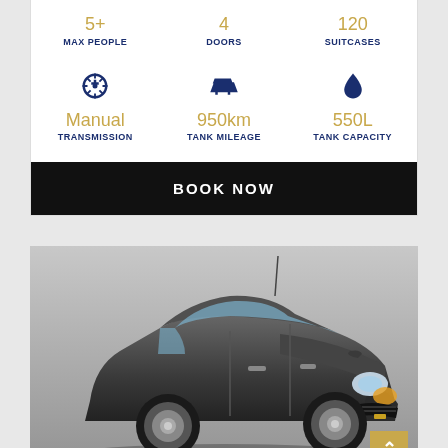MAX PEOPLE | DOORS | SUITCASES
Manual TRANSMISSION | 950km TANK MILEAGE | 550L TANK CAPACITY
BOOK NOW
[Figure (photo): Front view of a dark grey Chevrolet Sonic sedan against a grey gradient background]